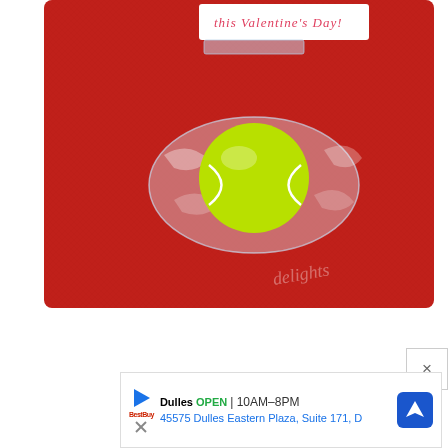[Figure (photo): A Valentine's Day treat bag — a clear plastic bag containing a yellow-green tennis ball, attached to a white card tag with red cursive text reading 'this Valentine's Day!'. The bag is placed on a red textured background. A watermark in cursive reads 'delights' in the lower-right corner of the image.]
× (close ad button)
Dulles OPEN | 10AM–8PM 45575 Dulles Eastern Plaza, Suite 171, D